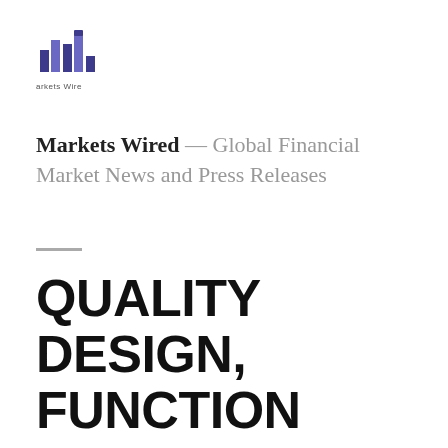[Figure (logo): Markets Wired logo — stylized bar chart icon in dark blue/purple with text 'Markets Wire' below]
Markets Wired — Global Financial Market News and Press Releases
QUALITY DESIGN, FUNCTION AND AESTHETICS: BRP INNOVATIONS A